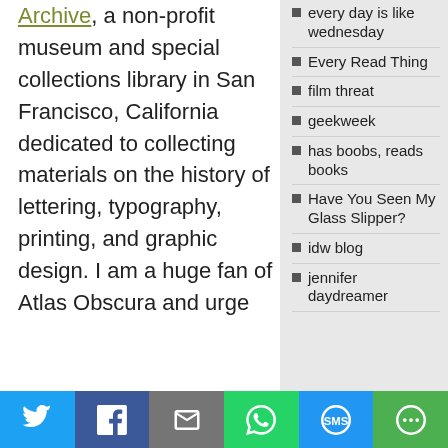Archive, a non-profit museum and special collections library in San Francisco, California dedicated to collecting materials on the history of lettering, typography, printing, and graphic design. I am a huge fan of Atlas Obscura and urge
every day is like wednesday
Every Read Thing
film threat
geekweek
has boobs, reads books
Have You Seen My Glass Slipper?
idw blog
jennifer daydreamer